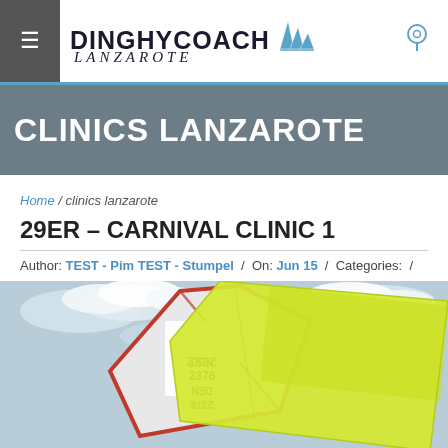DINGHYCOACH LANZAROTE
CLINICS LANZAROTE
Home / clinics lanzarote
29ER – CARNIVAL CLINIC 1
Author: TEST - Pim TEST - Stumpel / On: Jun 15 / Categories: /
[Figure (photo): Sailing photo showing a 29er skiff with a yellow spinnaker sail deployed. The sail number DEN 2376 is visible. The image appears partially upside-down showing the boat mid-manoeuvre against a cloudy sky.]